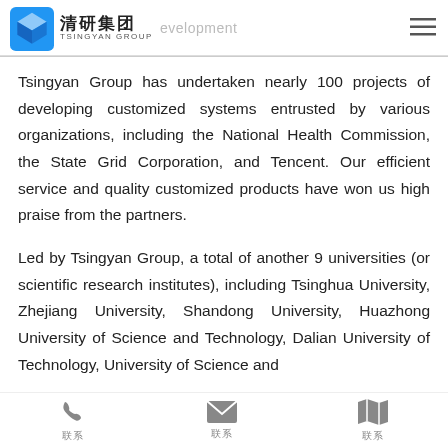清研集团 TSINGYAN GROUP — development
Tsingyan Group has undertaken nearly 100 projects of developing customized systems entrusted by various organizations, including the National Health Commission, the State Grid Corporation, and Tencent. Our efficient service and quality customized products have won us high praise from the partners.
Led by Tsingyan Group, a total of another 9 universities (or scientific research institutes), including Tsinghua University, Zhejiang University, Shandong University, Huazhong University of Science and Technology, Dalian University of Technology, University of Science and Technology of China, (the text continues below the visible area)
联系 联系 联系